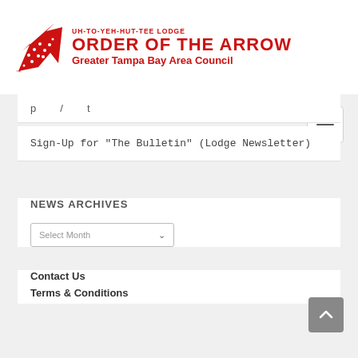UH-TO-YEH-HUT-TEE LODGE ORDER OF THE ARROW Greater Tampa Bay Area Council
Sign-Up for "The Bulletin" (Lodge Newsletter)
NEWS ARCHIVES
Select Month
Contact Us
Terms & Conditions